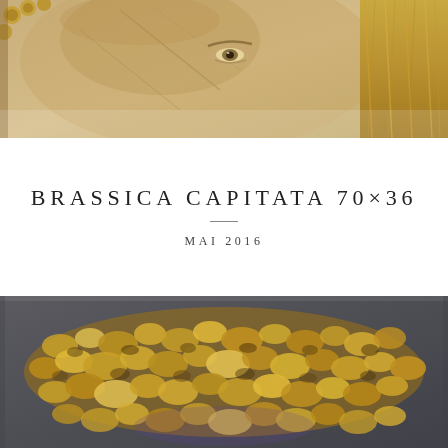[Figure (photo): Close-up of a sculptural face or mask in beige/gold tones, showing an eye and textured surface, with a furry golden element on the right side]
BRASSICA CAPITATA 70×36
MAI 2016
[Figure (photo): Close-up of a bronze or metallic sculptural piece with organic, cauliflower-like textured surface in gold/bronze tones against a dark gray background]